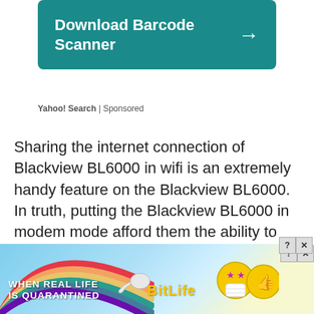[Figure (screenshot): Teal/dark cyan banner advertisement for 'Download Barcode Scanner' with a right arrow, attributed to Yahoo! Search | Sponsored]
Yahoo! Search | Sponsored
Sharing the internet connection of Blackview BL6000 in wifi is an extremely handy feature on the Blackview BL6000. In truth, putting the Blackview BL6000 in modem mode afford them the ability to share the connection of the mobile with your entourage or with your different devices. So, in case you do not have a suitable ... Read more
[Figure (screenshot): Bottom banner advertisement for BitLife mobile game with rainbow, sperm mascot, animated emoji characters, and text 'WHEN REAL LIFE IS QUARANTINED'. Has close (X) and help (?) buttons in top right corner.]